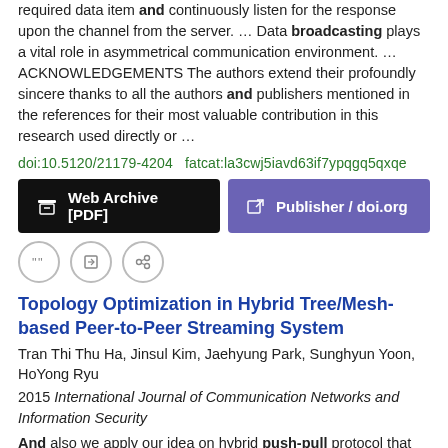required data item and continuously listen for the response upon the channel from the server.  …  Data broadcasting plays a vital role in asymmetrical communication environment.  …  ACKNOWLEDGEMENTS The authors extend their profoundly sincere thanks to all the authors and publishers mentioned in the references for their most valuable contribution in this research used directly or  …
doi:10.5120/21179-4204   fatcat:la3cwj5iavd63if7ypqgq5qxqe
[Figure (other): Two buttons: 'Web Archive [PDF]' (dark background) and 'Publisher / doi.org' (purple background), and three icon buttons below (quote, edit, link)]
Topology Optimization in Hybrid Tree/Mesh-based Peer-to-Peer Streaming System
Tran Thi Thu Ha, Jinsul Kim, Jaehyung Park, Sunghyun Yoon, HoYong Ryu
2015 International Journal of Communication Networks and Information Security
And also we apply our idea on hybrid push-pull protocol that combines the benefits of pull and push mechanisms for live video delivery to provide better video streaming quality …  This paper, we